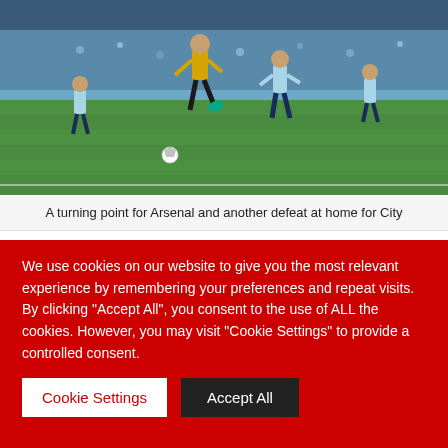[Figure (photo): Soccer match action photo showing players from two teams (one in yellow/black, one in light blue) on a green pitch, with a player jumping/kicking]
A turning point for Arsenal and another defeat at home for City
City's poor form after Christmas can be partially accounted for by the absence of Sergio Aguero through injury and the resultant time it took for him to return to form – Theo Walcott is similar to Aguero in needing a few matches to acclimate himself again and regain form. The Argentina international has been a vital player since joining City in July
We use cookies on our website to give you the most relevant experience by remembering your preferences and repeat visits. By clicking "Accept All", you consent to the use of ALL the cookies. However, you may visit "Cookie Settings" to provide a controlled consent.